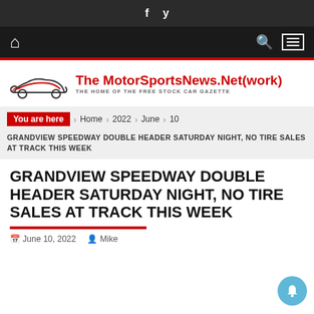f  y
[Figure (logo): The MotorSportsNews.Net(work) logo with stylized car silhouette and tagline THE HOME OF THE FREE STOCK CAR GAZETTE]
You are here › Home › 2022 › June › 10
GRANDVIEW SPEEDWAY DOUBLE HEADER SATURDAY NIGHT, NO TIRE SALES AT TRACK THIS WEEK
GRANDVIEW SPEEDWAY DOUBLE HEADER SATURDAY NIGHT, NO TIRE SALES AT TRACK THIS WEEK
June 10, 2022  Mike